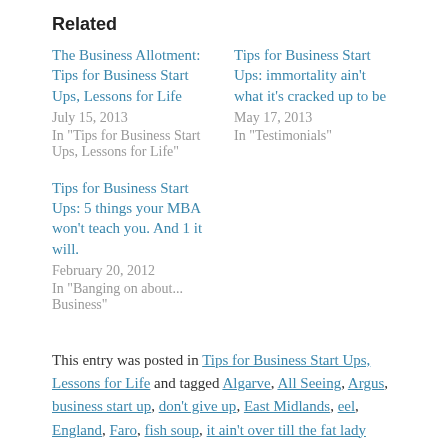Related
The Business Allotment: Tips for Business Start Ups, Lessons for Life
July 15, 2013
In "Tips for Business Start Ups, Lessons for Life"
Tips for Business Start Ups: immortality ain't what it's cracked up to be
May 17, 2013
In "Testimonials"
Tips for Business Start Ups: 5 things your MBA won't teach you. And 1 it will.
February 20, 2012
In "Banging on about... Business"
This entry was posted in Tips for Business Start Ups, Lessons for Life and tagged Algarve, All Seeing, Argus, business start up, don't give up, East Midlands, eel, England, Faro, fish soup, it ain't over till the fat lady sings, langoustine, Lisbon, Northampton on July 27, 2013.